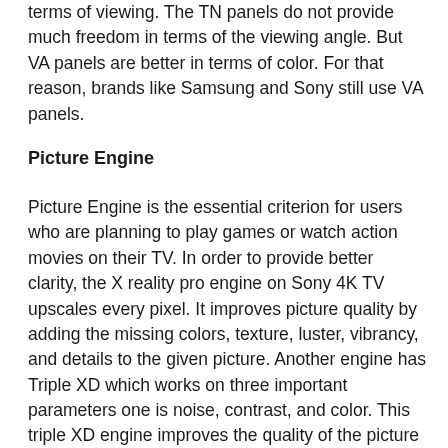terms of viewing. The TN panels do not provide much freedom in terms of the viewing angle. But VA panels are better in terms of color. For that reason, brands like Samsung and Sony still use VA panels.
Picture Engine
Picture Engine is the essential criterion for users who are planning to play games or watch action movies on their TV. In order to provide better clarity, the X reality pro engine on Sony 4K TV upscales every pixel. It improves picture quality by adding the missing colors, texture, luster, vibrancy, and details to the given picture. Another engine has Triple XD which works on three important parameters one is noise, contrast, and color. This triple XD engine improves the quality of the picture by